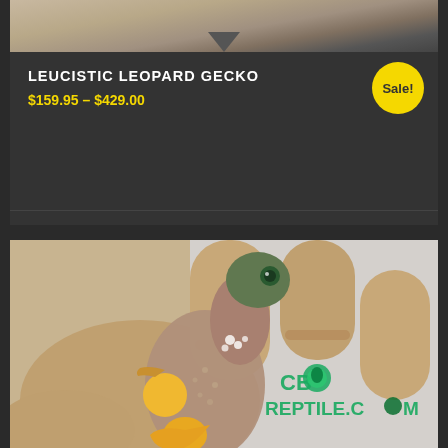[Figure (photo): Top portion of a leopard gecko photo, partially visible at top of page, showing skin/hand detail]
LEUCISTIC LEOPARD GECKO
$159.95 – $429.00
Sale!
Select options
[Figure (photo): A leucistic leopard gecko with yellow and brown coloring, held in a person's hand. CBReptile.com watermark visible.]